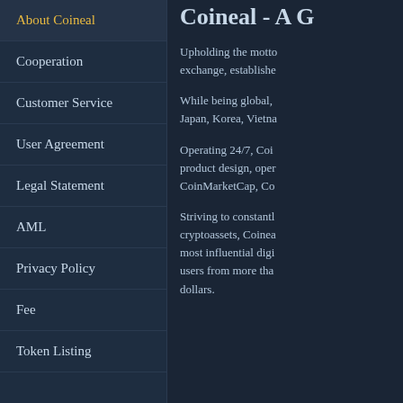About Coineal
Cooperation
Customer Service
User Agreement
Legal Statement
AML
Privacy Policy
Fee
Token Listing
Coineal - A G
Upholding the motto exchange, establishe
While being global, Japan, Korea, Vietna
Operating 24/7, Coi product design, oper CoinMarketCap, Co
Striving to constantl cryptoassets, Coinea most influential digi users from more tha dollars.